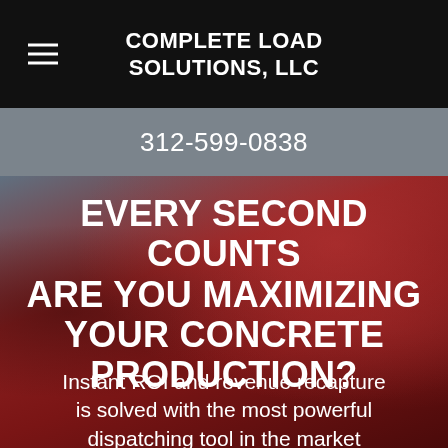COMPLETE LOAD SOLUTIONS, LLC
312-599-0838
[Figure (photo): Blurred background photo of red concrete mixer trucks]
EVERY SECOND COUNTS ARE YOU MAXIMIZING YOUR CONCRETE PRODUCTION?
Instant ROI and revenue recapture is solved with the most powerful dispatching tool in the market